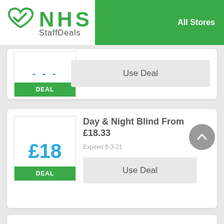[Figure (logo): NHS StaffDeals logo with green heart/checkmark icon]
All Stores
DEAL
Use Deal
Day & Night Blind From £18.33
Expired 6-3-21
£18
DEAL
Use Deal